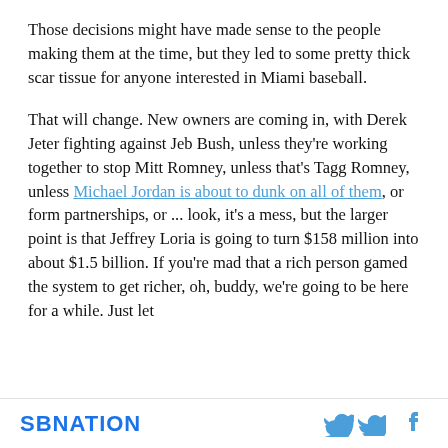Those decisions might have made sense to the people making them at the time, but they led to some pretty thick scar tissue for anyone interested in Miami baseball.
That will change. New owners are coming in, with Derek Jeter fighting against Jeb Bush, unless they're working together to stop Mitt Romney, unless that's Tagg Romney, unless Michael Jordan is about to dunk on all of them, or form partnerships, or ... look, it's a mess, but the larger point is that Jeffrey Loria is going to turn $158 million into about $1.5 billion. If you're mad that a rich person gamed the system to get richer, oh, buddy, we're going to be here for a while. Just let that part go.
SBNATION